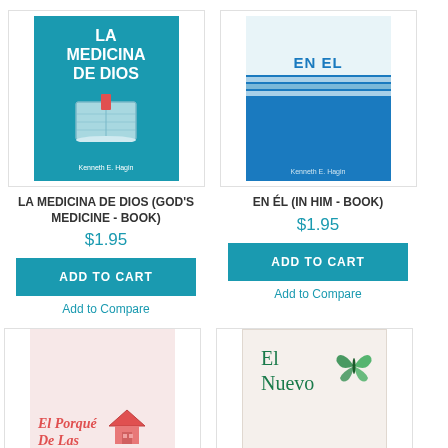[Figure (illustration): Book cover: LA MEDICINA DE DIOS (God's Medicine - Book) by Kenneth E. Hagin, teal/blue cover with Bible image]
LA MEDICINA DE DIOS (GOD'S MEDICINE - BOOK)
$1.95
ADD TO CART
Add to Compare
[Figure (illustration): Book cover: EN ÉL (In Him - Book) by Kenneth E. Hagin, blue cover with striped design]
EN ÉL (IN HIM - BOOK)
$1.95
ADD TO CART
Add to Compare
[Figure (illustration): Book cover: El Porqué De Las Lenguas, pink/red cover with house illustration]
[Figure (illustration): Book cover: El Nuevo, off-white cover with green butterfly and green title text]